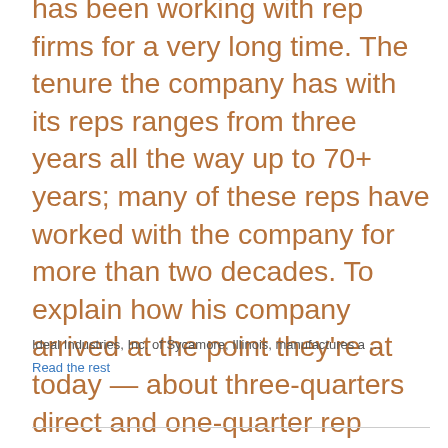has been working with rep firms for a very long time. The tenure the company has with its reps ranges from three years all the way up to 70+ years; many of these reps have worked with the company for more than two decades. To explain how his company arrived at the point they're at today — about three-quarters direct and one-quarter rep sales force —  he refers to some early company history.
Ideal Industries, Inc. of Sycamore, Illinois, manufactures a …
Read the rest